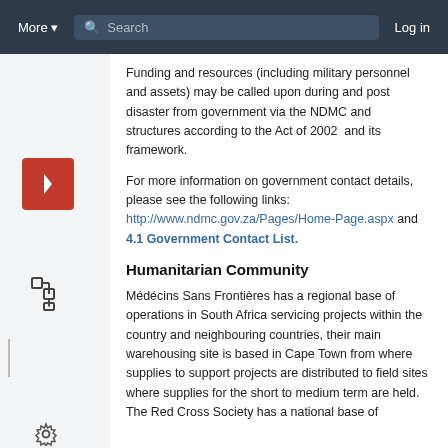More ▾   Search   Log in
Funding and resources (including military personnel and assets) may be called upon during and post disaster from government via the NDMC and structures according to the Act of 2002  and its framework.
For more information on government contact details, please see the following links:  http://www.ndmc.gov.za/Pages/Home-Page.aspx and 4.1 Government Contact List.
Humanitarian Community
Médécins Sans Frontières has a regional base of operations in South Africa servicing projects within the country and neighbouring countries, their main warehousing site is based in Cape Town from where supplies to support projects are distributed to field sites where supplies for the short to medium term are held. The Red Cross Society has a national base of